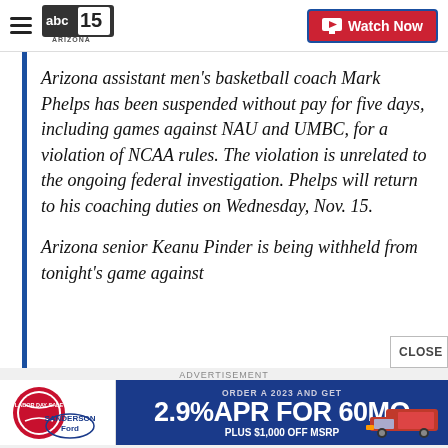abc15 ARIZONA — Watch Now
Arizona assistant men's basketball coach Mark Phelps has been suspended without pay for five days, including games against NAU and UMBC, for a violation of NCAA rules. The violation is unrelated to the ongoing federal investigation. Phelps will return to his coaching duties on Wednesday, Nov. 15.
Arizona senior Keanu Pinder is being withheld from tonight's game against
[Figure (other): Sanderson Ford Labor Day Sale advertisement banner: 2.9% APR FOR 60MO PLUS $1,000 OFF MSRP, ORDER A 2023 AND GET, with a red Ford truck image]
ADVERTISEMENT